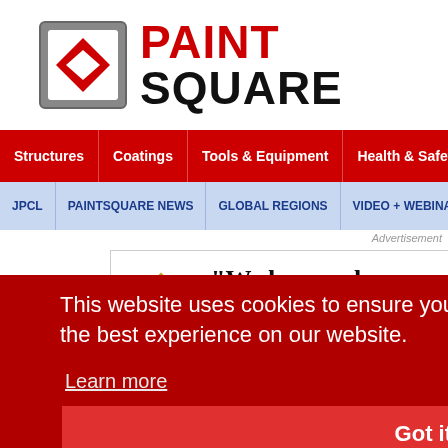[Figure (logo): PaintSquare logo with icon (gray square frame with red diamond shape) and bold text 'PAINT SQUARE' in red and black]
Structures | Coatings | Tools & Equipment | Health & Safety
JPCL | PAINTSQUARE NEWS | GLOBAL REGIONS | VIDEO + WEBINARS
Advertisement
[Figure (screenshot): Advertisement banner with gold diamond logo and text: "We know when we give dollars to you, they're in..."]
This website uses cookies to ensure you get the best experience on our website.
Learn more
Got it!